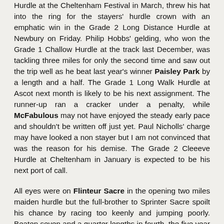Hurdle at the Cheltenham Festival in March, threw his hat into the ring for the stayers' hurdle crown with an emphatic win in the Grade 2 Long Distance Hurdle at Newbury on Friday. Philip Hobbs' gelding, who won the Grade 1 Challow Hurdle at the track last December, was tackling three miles for only the second time and saw out the trip well as he beat last year's winner Paisley Park by a length and a half. The Grade 1 Long Walk Hurdle at Ascot next month is likely to be his next assignment. The runner-up ran a cracker under a penalty, while McFabulous may not have enjoyed the steady early pace and shouldn't be written off just yet. Paul Nicholls' charge may have looked a non stayer but I am not convinced that was the reason for his demise. The Grade 2 Cleeeve Hurdle at Cheltenham in January is expected to be his next port of call.
All eyes were on Flinteur Sacre in the opening two miles maiden hurdle but the full-brother to Sprinter Sacre spoilt his chance by racing too keenly and jumping poorly. Beaten seven and a quarter lengths in fourth, the five year old had reportedly schooled well at home and was fully expected to win on his jumping debut. However, it went wrong from the outset and it was simply too bad to be true. He must be better than he showed here. The race went the way of the once-raced My Drogo (100/30), who was